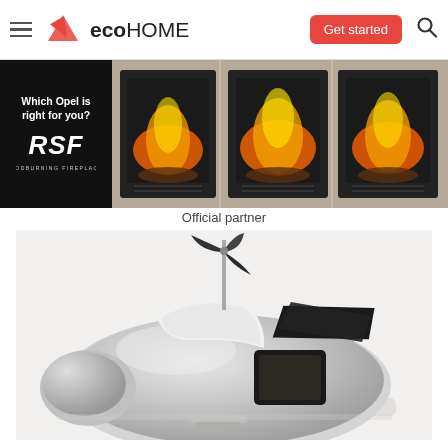eco HOME — Get started
[Figure (photo): Advertisement banner showing RSF woodburning fireplaces — left side shows 'Which Opel is right for you? RSF Woodburning Fireplaces' text on dark background; right side shows three fireplace doors with burning flames]
Official partner
[Figure (photo): A futuristic silver pod-shaped tiny home or prefabricated dwelling with a wind turbine on top, solar panels, and a rectangular window opening, displayed on a light background]